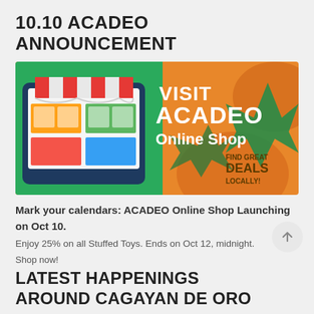10.10 ACADEO ANNOUNCEMENT
[Figure (illustration): Promotional banner for ACADEO Online Shop with text 'VISIT ACADEO Online Shop FIND GREAT DEALS LOCALLY!' on an orange and green background with a tablet device showing a shopping interface and a striped awning.]
Mark your calendars: ACADEO Online Shop Launching on Oct 10.
Enjoy 25% on all Stuffed Toys. Ends on Oct 12, midnight.
Shop now!
LATEST HAPPENINGS AROUND CAGAYAN DE ORO